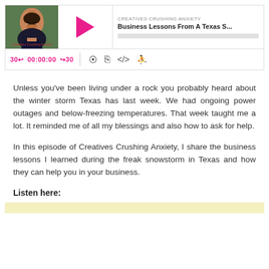[Figure (screenshot): Podcast player widget showing 'Creatives Crushing Anxiety' podcast, episode 'Business Lessons From A Texas S...' with play button, progress bar, time display 30← 00:00:00 →30 and control icons]
Unless you've been living under a rock you probably heard about the winter storm Texas has last week. We had ongoing power outages and below-freezing temperatures. That week taught me a lot. It reminded me of all my blessings and also how to ask for help.
In this episode of Creatives Crushing Anxiety, I share the business lessons I learned during the freak snowstorm in Texas and how they can help you in your business.
Listen here:
[Figure (other): Yellow/cream colored bar at the bottom of the page]